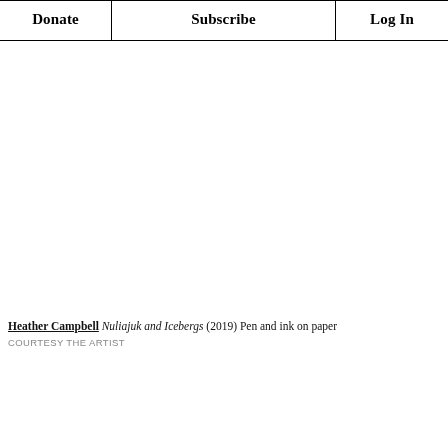Donate | Subscribe | Log In
[Figure (illustration): Blank white image area representing an artwork (Nuliajuk and Icebergs by Heather Campbell, 2019, pen and ink on paper)]
Heather Campbell Nuliajuk and Icebergs (2019) Pen and ink on paper
COURTESY THE ARTIST